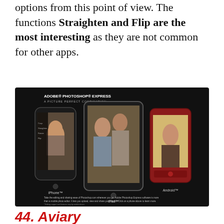options from this point of view. The functions Straighten and Flip are the most interesting as they are not common for other apps.
[Figure (screenshot): Adobe Photoshop Express advertisement showing the app on iPhone, iPad, and Android devices with the tagline 'A PICTURE PERFECT COMBINATION']
44. Aviary